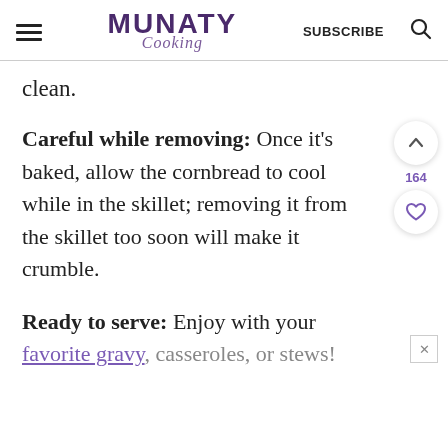MUNATY Cooking | SUBSCRIBE
clean.
Careful while removing: Once it’s baked, allow the cornbread to cool while in the skillet; removing it from the skillet too soon will make it crumble.
Ready to serve: Enjoy with your favorite gravy, casseroles, or stews!